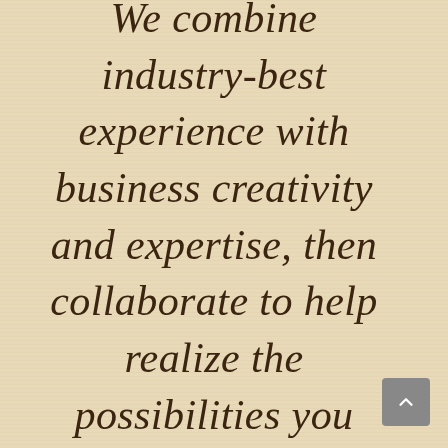We combine industry-best experience with business creativity and expertise, then collaborate to help realize the possibilities you created from the first moment you set pen to paper.